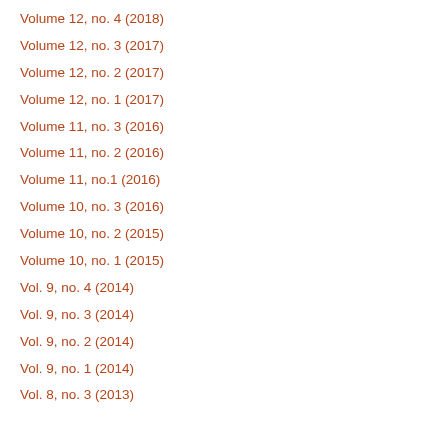Volume 12, no. 4 (2018)
Volume 12, no. 3 (2017)
Volume 12, no. 2 (2017)
Volume 12, no. 1 (2017)
Volume 11, no. 3 (2016)
Volume 11, no. 2 (2016)
Volume 11, no.1 (2016)
Volume 10, no. 3 (2016)
Volume 10, no. 2 (2015)
Volume 10, no. 1 (2015)
Vol. 9, no. 4 (2014)
Vol. 9, no. 3 (2014)
Vol. 9, no. 2 (2014)
Vol. 9, no. 1 (2014)
Vol. 8, no. 3 (2013)